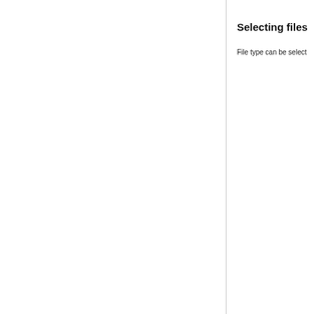Selecting files
File type can be select